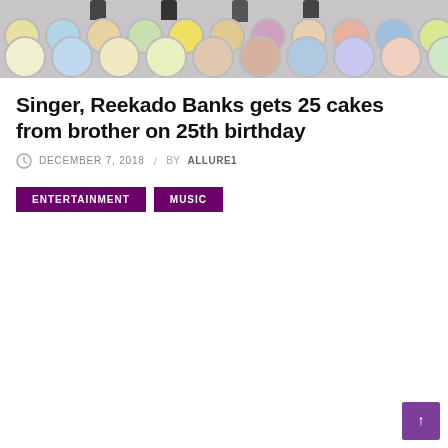[Figure (photo): Photo of a person's legs surrounded by many decorated circular cakes arranged in rows on a white surface]
Singer, Reekado Banks gets 25 cakes from brother on 25th birthday
DECEMBER 7, 2018 / BY ALLURE1
ENTERTAINMENT
MUSIC